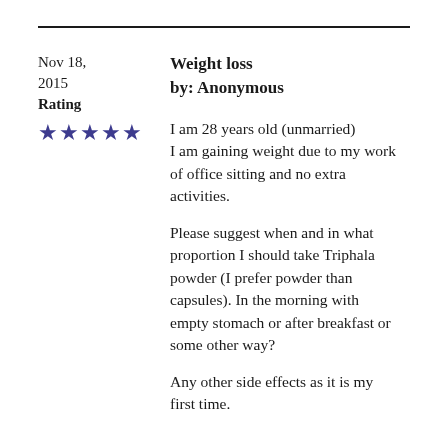Nov 18, 2015
Rating
Weight loss
by: Anonymous
[Figure (other): Five filled star rating icons in dark purple/navy color]
I am 28 years old (unmarried) I am gaining weight due to my work of office sitting and no extra activities.

Please suggest when and in what proportion I should take Triphala powder (I prefer powder than capsules). In the morning with empty stomach or after breakfast or some other way?

Any other side effects as it is my first time.